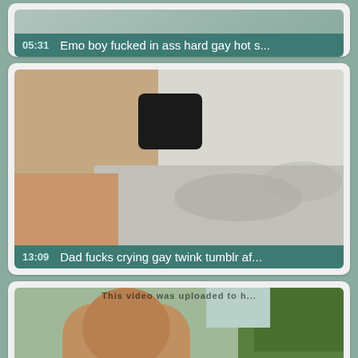[Figure (screenshot): Video thumbnail card showing partial view at top with teal info bar showing duration 05:31 and title 'Emo boy fucked in ass hard gay hot s...']
[Figure (screenshot): Video thumbnail card showing close-up blurry image of fabric/body with teal info bar showing duration 13:09 and title 'Dad fucks crying gay twink tumblr af...']
[Figure (screenshot): Video thumbnail card (partially visible) showing outdoor scene with watermark text 'This video was uploaded to h...' overlaid]